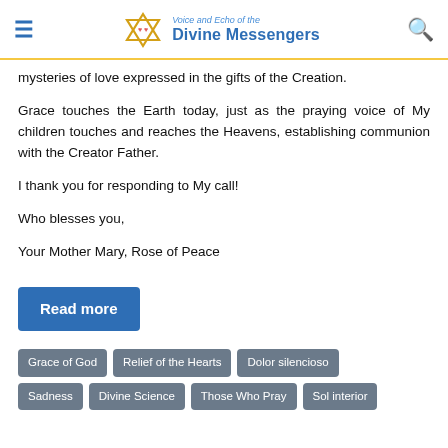Voice and Echo of the Divine Messengers
mysteries of love expressed in the gifts of the Creation.
Grace touches the Earth today, just as the praying voice of My children touches and reaches the Heavens, establishing communion with the Creator Father.
I thank you for responding to My call!
Who blesses you,
Your Mother Mary, Rose of Peace
Read more
Grace of God
Relief of the Hearts
Dolor silencioso
Sadness
Divine Science
Those Who Pray
Sol interior